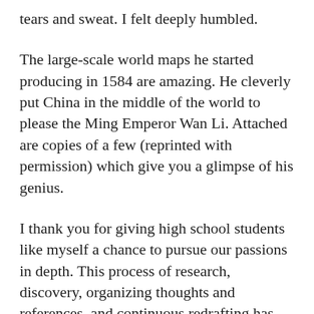tears and sweat. I felt deeply humbled.
The large-scale world maps he started producing in 1584 are amazing. He cleverly put China in the middle of the world to please the Ming Emperor Wan Li. Attached are copies of a few (reprinted with permission) which give you a glimpse of his genius.
I thank you for giving high school students like myself a chance to pursue our passions in depth. This process of research, discovery, organizing thoughts and references, and continuous redrafting has made me much more appreciative of historical scholarship. Regardless of whether my essay is selected, I hope you enjoy reading it and learning about this fascinating man, whose life and work